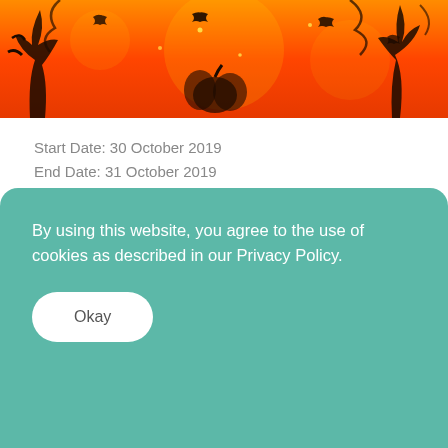[Figure (illustration): Halloween themed banner image with orange background, black silhouettes of bats, twisted trees, pumpkin shapes, and sparkle effects]
Start Date: 30 October 2019
End Date: 31 October 2019
Ammanford Town Council are hosting a Spooktacular Family Halloween Party in Ammanford Park this October Half Term
They have hired a giant marquee that will be turned in to a scary
By using this website, you agree to the use of cookies as described in our Privacy Policy.
Okay
You just need to reserve your tickets online via the link below